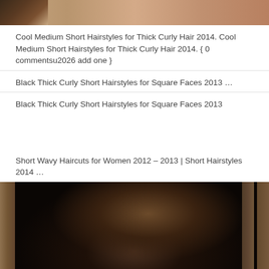[Figure (photo): Top portion of a hairstyle photo showing curly hair, cropped at top]
Cool Medium Short Hairstyles for Thick Curly Hair 2014. Cool Medium Short Hairstyles for Thick Curly Hair 2014. { 0 commentsu2026 add one }
Black Thick Curly Short Hairstyles for Square Faces 2013 …
Black Thick Curly Short Hairstyles for Square Faces 2013
Short Wavy Haircuts for Women 2012 – 2013 | Short Hairstyles 2014 …
[Figure (photo): Close-up photo of short wavy/curly dark hair viewed from above, against a wooden background]